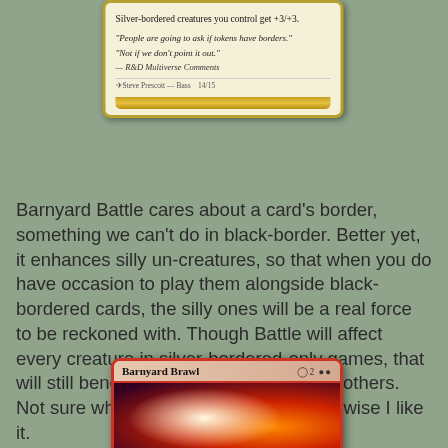[Figure (photo): Top portion of a Magic: The Gathering card with gold border showing rules text: 'Silver-bordered creatures you control get +3/+3.' and flavor text: 'People are going to ask if tokens have borders.' / 'Not if we don't point it out.' — R&D Multiverse Comments. Artist: Steve Prescott — Bass.]
Barnyard Battle cares about a card's border, something we can't do in black-border. Better yet, it enhances silly un-creatures, so that when you do have occasion to play them alongside black-bordered cards, the silly ones will be a real force to be reckoned with. Though Battle will affect every creature in silver-bordered-only games, that will still benefit some players more than others. Not sure what's red about this, but otherwise I like it.
[Figure (photo): Bottom portion of a Magic: The Gathering card named 'Barnyard Brawl' with red border, mana cost 2 plus two red symbols, showing artwork of two figures fighting with fire and lightning effects.]